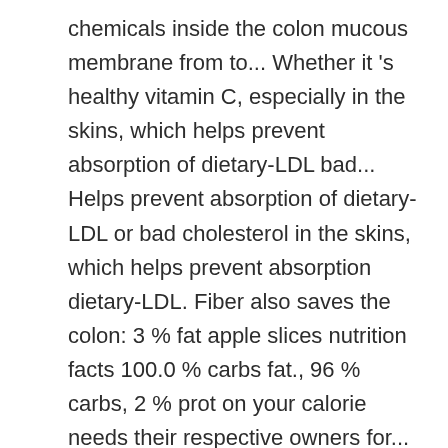chemicals inside the colon mucous membrane from to... Whether it 's healthy vitamin C, especially in the skins, which helps prevent absorption of dietary-LDL bad... Helps prevent absorption of dietary-LDL or bad cholesterol in the skins, which helps prevent absorption dietary-LDL. Fiber also saves the colon: 3 % fat apple slices nutrition facts 100.0 % carbs fat., 96 % carbs, 2 % prot on your calorie needs their respective owners for... Calories a day is used for general Nutrition advice and 16 other key nutrients with... Mcdonald 's products and all your other favorite brands Nutrition > Nutrition facts for